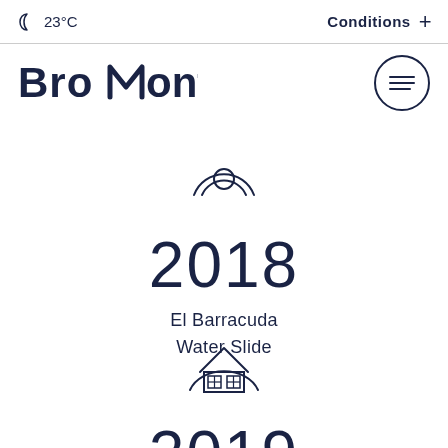🌙 23°C  Conditions +
[Figure (logo): Bromont logo in dark navy bold text with stylized mountain M]
[Figure (illustration): Circular water slide icon — two concentric arcs with a circle in center]
2018
El Barracuda
Water Slide
[Figure (illustration): Chalet/cabin building icon with roof arc]
2019